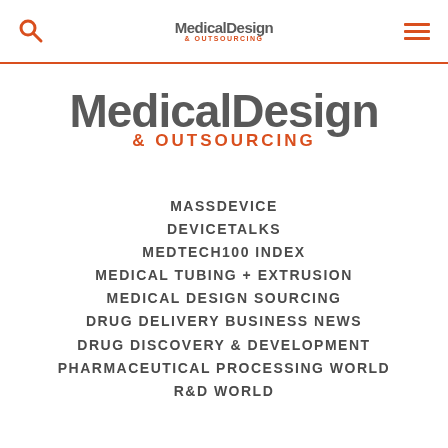Medical Design & OUTSOURCING
[Figure (logo): Medical Design & OUTSOURCING large centered logo]
MASSDEVICE
DEVICETALKS
MEDTECH100 INDEX
MEDICAL TUBING + EXTRUSION
MEDICAL DESIGN SOURCING
DRUG DELIVERY BUSINESS NEWS
DRUG DISCOVERY & DEVELOPMENT
PHARMACEUTICAL PROCESSING WORLD
R&D WORLD